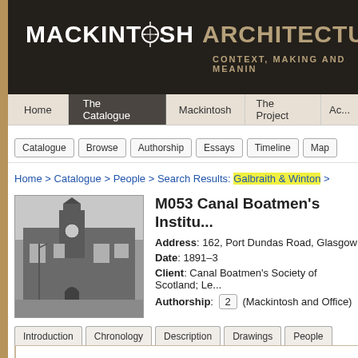MACKINTOSH ARCHITECTURE: CONTEXT, MAKING AND MEANING
Home | The Catalogue | Mackintosh | The Project | Ac...
Catalogue | Browse | Authorship | Essays | Timeline | Map
Home > Catalogue > People > Search Results: Galbraith & Winton >
M053 Canal Boatmen's Institu...
Address: 162, Port Dundas Road, Glasgow
Date: 1891–3
Client: Canal Boatmen's Society of Scotland; Le...
Authorship: 2 (Mackintosh and Office)
[Figure (photo): Black and white photograph of Canal Boatmen's Institute building, a Victorian stone building with a clock tower]
Introduction | Chronology | Description | Drawings | People